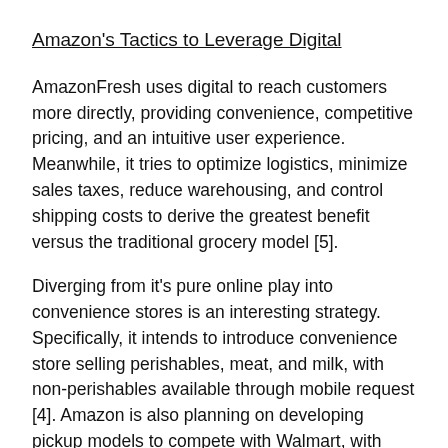Amazon's Tactics to Leverage Digital
AmazonFresh uses digital to reach customers more directly, providing convenience, competitive pricing, and an intuitive user experience. Meanwhile, it tries to optimize logistics, minimize sales taxes, reduce warehousing, and control shipping costs to derive the greatest benefit versus the traditional grocery model [5].
Diverging from it's pure online play into convenience stores is an interesting strategy. Specifically, it intends to introduce convenience store selling perishables, meat, and milk, with non-perishables available through mobile request [4]. Amazon is also planning on developing pickup models to compete with Walmart, with license-plate reading technology to decrease wait times